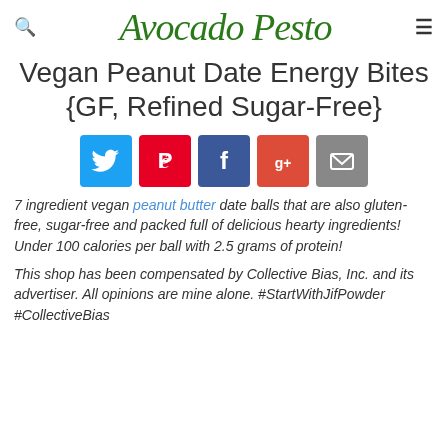Avocado Pesto
Vegan Peanut Date Energy Bites {GF, Refined Sugar-Free}
[Figure (infographic): Social share buttons: Twitter (blue), Pinterest (red), Facebook (dark blue), Google+ (red-orange), Email (gray)]
7 ingredient vegan peanut butter date balls that are also gluten-free, sugar-free and packed full of delicious hearty ingredients! Under 100 calories per ball with 2.5 grams of protein!
This shop has been compensated by Collective Bias, Inc. and its advertiser. All opinions are mine alone. #StartWithJifPowder #CollectiveBias